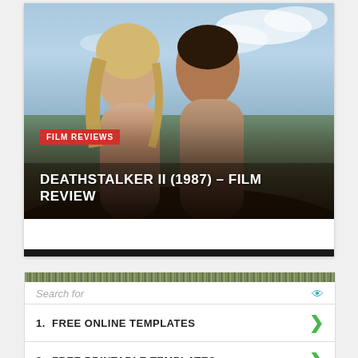[Figure (photo): Hero image showing two people (a blonde woman and a dark-haired man) in a fantasy/adventure setting outdoors, with sky in background. Red 'FILM REVIEWS' tag overlaid. White bold title text 'DEATHSTALKER II (1987) – FILM REVIEW' at bottom of image.]
DEATHSTALKER II (1987) – FILM REVIEW
Search for
1.  FREE ONLINE TEMPLATES
2.  FREE PRINTABLE TEMPLATES